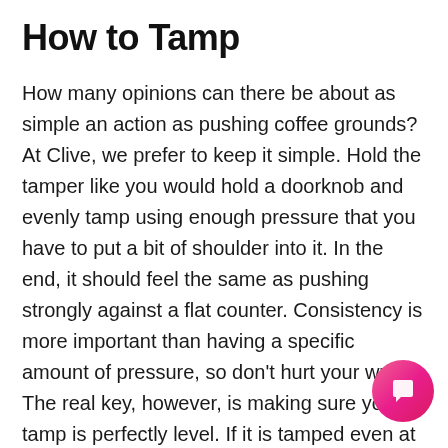How to Tamp
How many opinions can there be about as simple an action as pushing coffee grounds? At Clive, we prefer to keep it simple. Hold the tamper like you would hold a doorknob and evenly tamp using enough pressure that you have to put a bit of shoulder into it. In the end, it should feel the same as pushing strongly against a flat counter. Consistency is more important than having a specific amount of pressure, so don't hurt your wrists. The real key, however, is making sure your tamp is perfectly level. If it is tamped even at a slight angle, it will create an area of uneven distribution and a path of less resistance. Ke... mind, the technique he recommends is for professional baristas who have to do this hundreds...